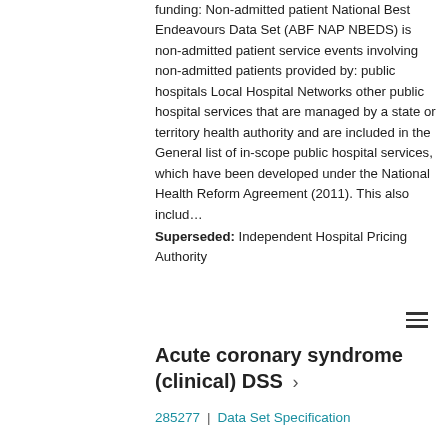funding: Non-admitted patient National Best Endeavours Data Set (ABF NAP NBEDS) is non-admitted patient service events involving non-admitted patients provided by: public hospitals Local Hospital Networks other public hospital services that are managed by a state or territory health authority and are included in the General list of in-scope public hospital services, which have been developed under the National Health Reform Agreement (2011). This also includ… Superseded: Independent Hospital Pricing Authority
Acute coronary syndrome (clinical) DSS ›
285277 | Data Set Specification